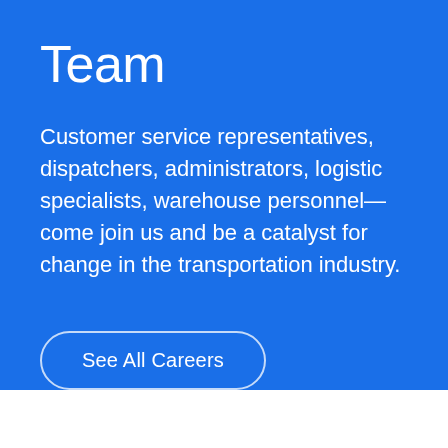Team
Customer service representatives, dispatchers, administrators, logistic specialists, warehouse personnel—come join us and be a catalyst for change in the transportation industry.
See All Careers